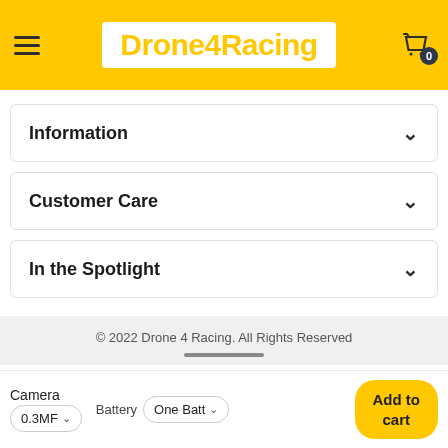Drone4Racing
Information
Customer Care
In the Spotlight
© 2022 Drone 4 Racing. All Rights Reserved
Camera  0.3MF  Battery  One Batt  Add to cart